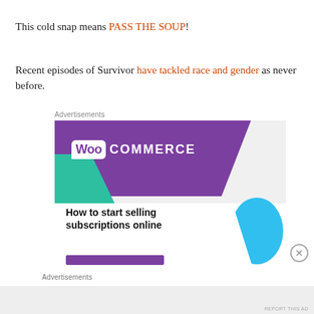This cold snap means PASS THE SOUP!
Recent episodes of Survivor have tackled race and gender as never before.
Advertisements
[Figure (screenshot): WooCommerce advertisement banner showing purple logo banner, teal green triangle shape, blue arc shape, headline 'How to start selling subscriptions online', and a purple call-to-action button at the bottom.]
Advertisements